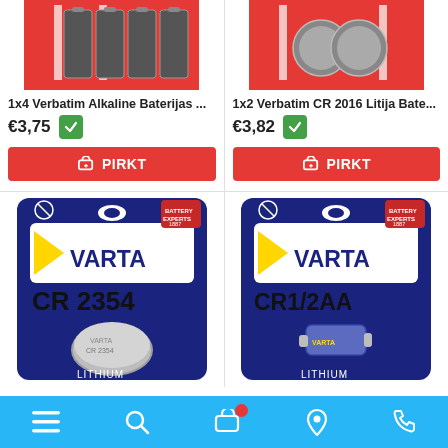[Figure (screenshot): Product image: 1x4 Verbatim Alkaline batteries on red background]
1x4 Verbatim Alkaline Baterijas ...
€3,75
PIRKT
[Figure (screenshot): Product image: 1x2 Verbatim CR2016 Lithium batteries on red background]
1x2 Verbatim CR 2016 Litija Bate...
€3,82
PIRKT
[Figure (photo): VARTA CR 2354 Lithium battery product package, dark navy blue background with yellow VARTA logo]
[Figure (photo): VARTA CR1/2AA Lithium battery product package, dark navy blue background with yellow VARTA logo]
Navigation bar with menu, search, cart (with red badge), location, and phone icons